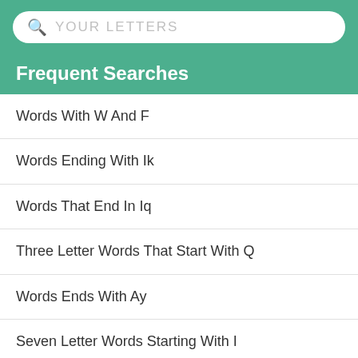YOUR LETTERS
Frequent Searches
Words With W And F
Words Ending With Ik
Words That End In Iq
Three Letter Words That Start With Q
Words Ends With Ay
Seven Letter Words Starting With I
5 Letter Words Ending In A
Words That End With Le